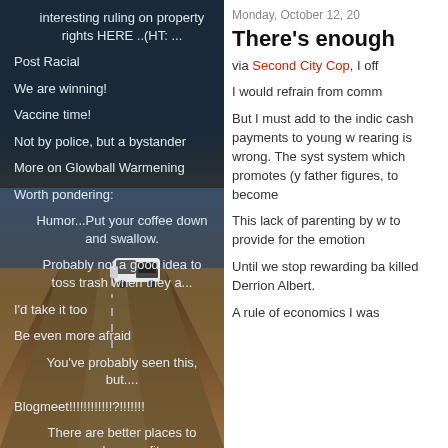interesting ruling on property rights HERE ..(HT: ...
Post Racial
We are winning!
Vaccine time!
Not by police, but a bystander
More on Glowball Warmening
Worth pondering:
Humor...Put your coffee down and swallow.
Probably not a good idea to toss trash when they a...
I'd take it too
Be even more afraid
You've probably seen this, but....
Blogmeet!!!!!!!!!!!!?!!!!!!!
There are better places to make a profit
Blogmeet
Monday, October 12, 20
There's enough
via Second City Cop, I off
I would refrain from comm
But I must add to the indic cash payments to young w rearing is wrong. The syst system which promotes (y father figures, to become
This lack of parenting by w to provide for the emotion
Until we stop rewarding ba killed Derrion Albert.
A rule of economics I was